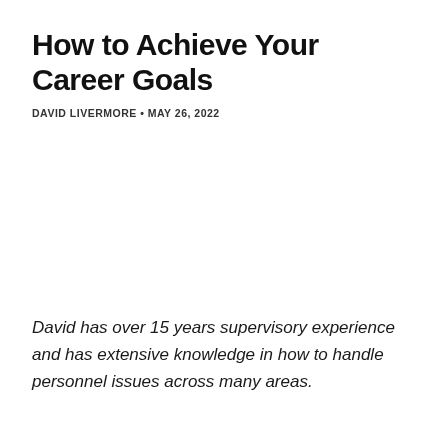How to Achieve Your Career Goals
DAVID LIVERMORE • MAY 26, 2022
David has over 15 years supervisory experience and has extensive knowledge in how to handle personnel issues across many areas.